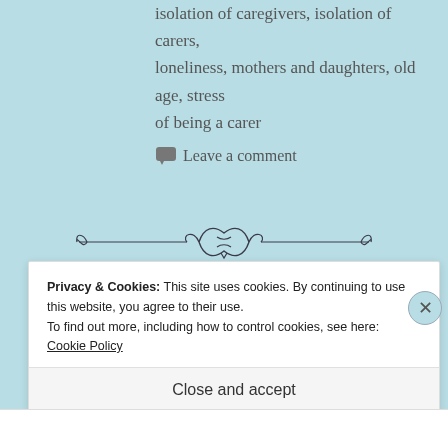isolation of caregivers, isolation of carers, loneliness, mothers and daughters, old age, stress of being a carer
Leave a comment
[Figure (illustration): Decorative ornamental divider with swirling flourish design]
Privacy & Cookies: This site uses cookies. By continuing to use this website, you agree to their use.
To find out more, including how to control cookies, see here: Cookie Policy
Close and accept